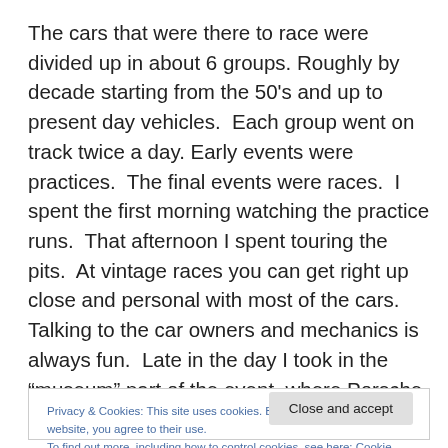The cars that were there to race were divided up in about 6 groups. Roughly by decade starting from the 50's and up to present day vehicles.  Each group went on track twice a day. Early events were practices.  The final events were races.  I spent the first morning watching the practice runs.  That afternoon I spent touring the pits.  At vintage races you can get right up close and personal with most of the cars.  Talking to the car owners and mechanics is always fun.  Late in the day I took in the “museum” part of the event, where Porsche had staged 15 or so significant
Privacy & Cookies: This site uses cookies. By continuing to use this website, you agree to their use.
To find out more, including how to control cookies, see here: Cookie Policy